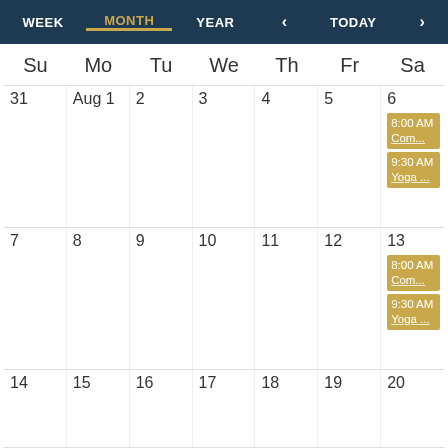WEEK | MONTH | YEAR | < | TODAY | >
[Figure (screenshot): Monthly calendar view for August showing weeks starting July 31. Days Su Mo Tu We Th Fr Sa. Events on Sat Aug 6: 8:00 AM Com... and 9:30 AM Yoga...; Sat Aug 13: 8:00 AM Com... and 9:30 AM Yoga...; Week starting Aug 14 visible at bottom.]
Su Mo Tu We Th Fr Sa
31 | Aug 1 | 2 | 3 | 4 | 5 | 6
8:00 AM Com...
9:30 AM Yoga ...
7 | 8 | 9 | 10 | 11 | 12 | 13
8:00 AM Com...
9:30 AM Yoga ...
14 | 15 | 16 | 17 | 18 | 19 | 20